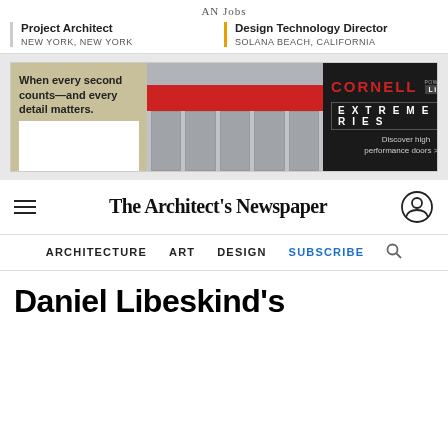AN Jobs
Project Architect
NEW YORK, NEW YORK
Design Technology Director
SOLANA BEACH, CALIFORNIA
[Figure (infographic): Cornell LiftMaster Extreme Series advertisement banner showing garage doors with text: When every second counts—and every detail matters. Cornell Extreme Series. Discover high performance doors >>>]
The Architect's Newspaper
ARCHITECTURE   ART   DESIGN   SUBSCRIBE
Daniel Libeskind's